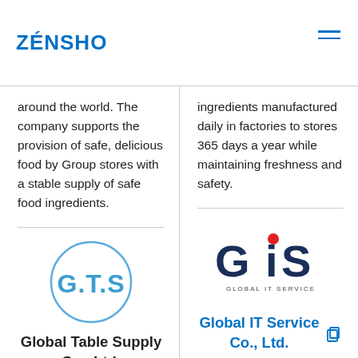ZENSHO
around the world. The company supports the provision of safe, delicious food by Group stores with a stable supply of safe food ingredients.
ingredients manufactured daily in factories to stores 365 days a year while maintaining freshness and safety.
[Figure (logo): G.T.S circular logo in blue]
[Figure (logo): GIS Global IT Service logo]
Global Table Supply Co., Ltd.
Global IT Service Co., Ltd.
Global Table Supply procures tableware, consumables, and fixtures (cooking utensils, uniforms, etc.) for use in stores from around Japan and the world
Global IT Service provides IT support for the standardization and streamlining of operations. The company also engages in the sale of the solutions it